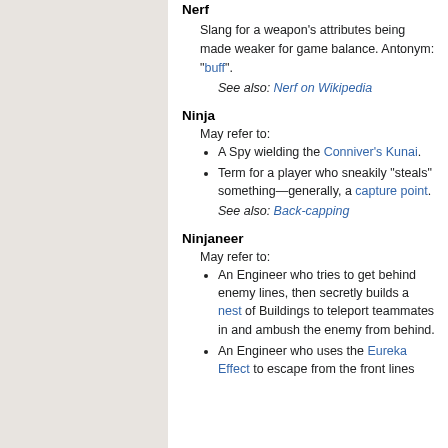Nerf
Slang for a weapon's attributes being made weaker for game balance. Antonym: "buff".
See also: Nerf on Wikipedia
Ninja
May refer to:
A Spy wielding the Conniver's Kunai.
Term for a player who sneakily "steals" something—generally, a capture point.
See also: Back-capping
Ninjaneer
May refer to:
An Engineer who tries to get behind enemy lines, then secretly builds a nest of Buildings to teleport teammates in and ambush the enemy from behind.
An Engineer who uses the Eureka Effect to escape from the front lines